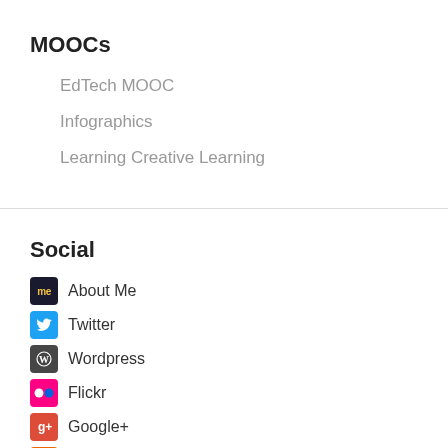MOOCs
EdTech MOOC
Infographics
Learning Creative Learning
Social
About Me
Twitter
Wordpress
Flickr
Google+
Soundcloud
Goodreads